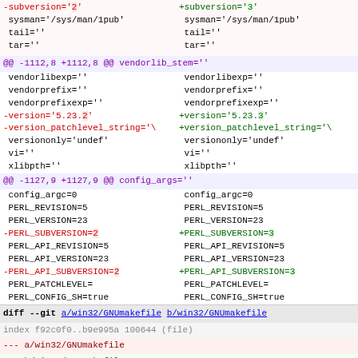diff --git a/win32/GNUmakefile b/win32/GNUmakefile showing code diff with subversion, version, PERL_SUBVERSION, PERL_API_SUBVERSION changes from 2 to 3
@@ -1112,8 +1112,8 @@ vendorlib_stem='' showing vendorlib, version, version_patchlevel_string diffs
@@ -1127,9 +1127,9 @@ config_args='' showing config_argc, PERL_REVISION, PERL_VERSION, PERL_SUBVERSION, PERL_API_REVISION, PERL_API_VERSION, PERL_API_SUBVERSION, PERL_PATCHLEVEL, PERL_CONFIG_SH diffs
diff --git a/win32/GNUmakefile b/win32/GNUmakefile
index f92c0f0..b9e995a 100644 (file)
--- a/win32/GNUmakefile
+++ b/win32/GNUmakefile
@@ -66,7 +66,7 @@ INST_TOP := $(INST_DRV)\perl
# versioned installation can  # versioned installation can
# path that includes an arb:  # path that includes an arb: